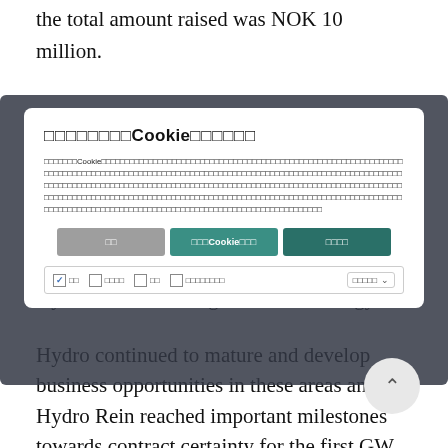the total amount raised was NOK 10 million.
[Figure (screenshot): Cookie consent modal overlay with Japanese text, showing title with cookie consent heading, body text in Japanese, three buttons (reject/manage/accept), and checkbox options for cookie categories with a dropdown]
Hydro's ambition to grow in new energy.
Hydro continued to mature and develop business opportunities in these areas and Hydro Rein reached important milestones towards contract certainty for the first GW of renewable power. Hydro